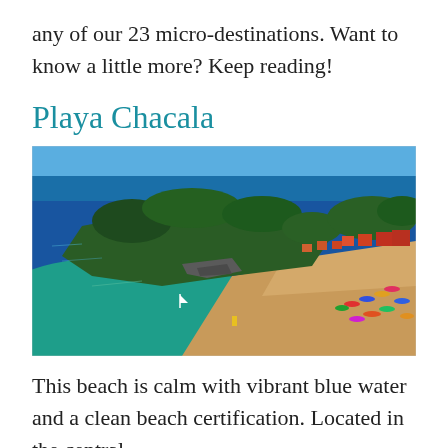any of our 23 micro-destinations. Want to know a little more? Keep reading!
Playa Chacala
[Figure (photo): Aerial drone photograph of Playa Chacala, Mexico — showing a curved sandy beach with turquoise and blue water, a rocky forested headland/peninsula jutting into the ocean, and a small coastal village with colorful buildings and palm trees. Beach umbrellas and visitors visible on the sandy shore.]
This beach is calm with vibrant blue water and a clean beach certification. Located in the central